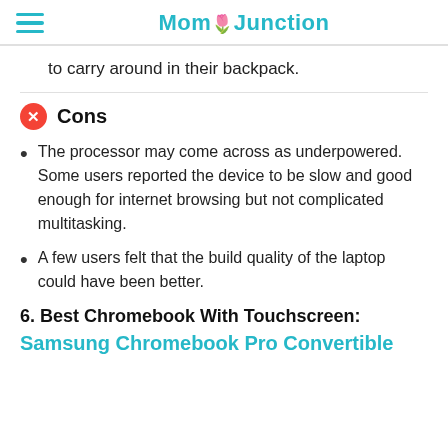MomJunction
to carry around in their backpack.
Cons
The processor may come across as underpowered. Some users reported the device to be slow and good enough for internet browsing but not complicated multitasking.
A few users felt that the build quality of the laptop could have been better.
6. Best Chromebook With Touchscreen:
Samsung Chromebook Pro Convertible